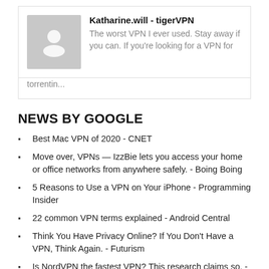[Figure (other): User avatar placeholder with gray silhouette icon]
Katharine.will - tigerVPN
The worst VPN I ever used. Stay away if you can. If you're looking for a VPN for torrentin...
NEWS BY GOOGLE
Best Mac VPN of 2020 - CNET
Move over, VPNs — IzzBie lets you access your home or office networks from anywhere safely. - Boing Boing
5 Reasons to Use a VPN on Your iPhone - Programming Insider
22 common VPN terms explained - Android Central
Think You Have Privacy Online? If You Don't Have a VPN, Think Again. - Futurism
Is NordVPN the fastest VPN? This research claims so. - TechRadar